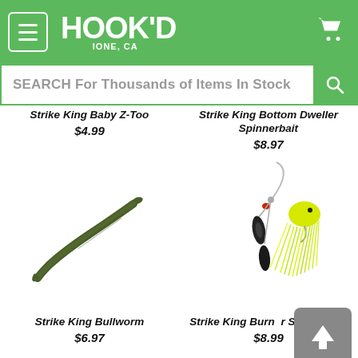[Figure (screenshot): Hook'd Ione, CA logo and navigation header with green background, hamburger menu icon on left, logo text in center, shopping cart icon on right]
SEARCH For Thousands of Items In Stock
Strike King Baby Z-Too
$4.99
Strike King Bottom Dweller Spinnerbait
$8.97
[Figure (photo): Strike King Bullworm fishing lure - dark olive green soft plastic worm]
[Figure (photo): Strike King Burner Spinnerbait fishing lure - chartreuse/yellow skirt with black blades]
Strike King Bullworm
$6.97
Strike King Burner Spinnerbait
$8.99